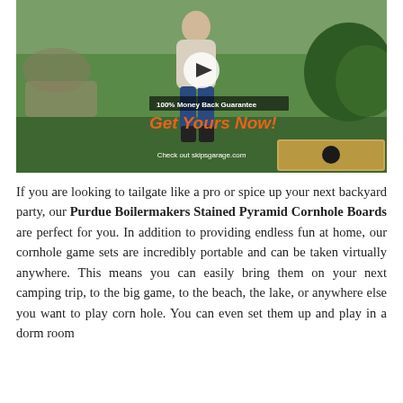[Figure (photo): Video thumbnail showing a person in a backyard playing cornhole. Overlaid text reads '100% Money Back Guarantee', 'Get Yours Now!' in orange italic, and 'Check out skipsgarage.com'. A play button is visible in the center.]
If you are looking to tailgate like a pro or spice up your next backyard party, our Purdue Boilermakers Stained Pyramid Cornhole Boards are perfect for you. In addition to providing endless fun at home, our cornhole game sets are incredibly portable and can be taken virtually anywhere. This means you can easily bring them on your next camping trip, to the big game, to the beach, the lake, or anywhere else you want to play corn hole. You can even set them up and play in a dorm room